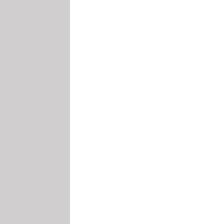10: pm And the most dangerous places to be for being robbed, shot or mugged are the GUN FREE ZONES The thugs are safe there because nobody will have a